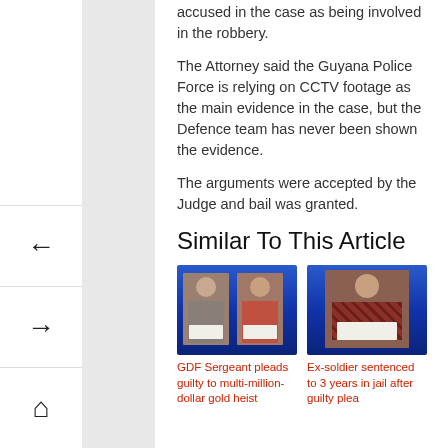accused in the case as being involved in the robbery.
The Attorney said the Guyana Police Force is relying on CCTV footage as the main evidence in the case, but the Defence team has never been shown the evidence.
The arguments were accepted by the Judge and bail was granted.
Similar To This Article
[Figure (photo): Two men photographed holding signs, blue background, related to GDF Sergeant gold heist story]
GDF Sergeant pleads guilty to multi-million-dollar gold heist
[Figure (photo): Man in patterned shirt holding a sign, blue background, related to Ex-soldier sentenced story]
Ex-soldier sentenced to 3 years in jail after guilty plea